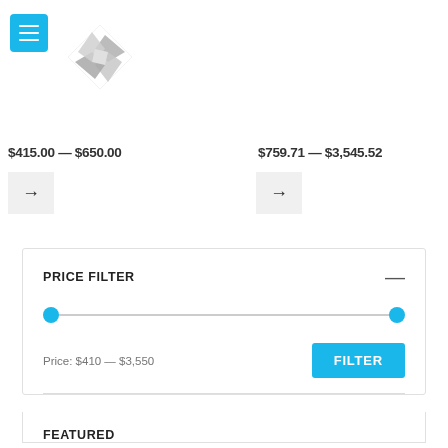[Figure (logo): Navigation menu button (blue square with three white horizontal lines) and a stylized pinwheel/windmill logo made of grey metallic interlocking shapes]
$415.00 — $650.00
$759.71 — $3,545.52
[Figure (other): Arrow button (right arrow) on grey background, left column]
[Figure (other): Arrow button (right arrow) on grey background, right column]
PRICE FILTER
[Figure (other): Price range slider with two blue circular handles at either end of a horizontal grey track]
Price: $410 — $3,550
[Figure (other): FILTER button in cyan/blue]
FEATURED